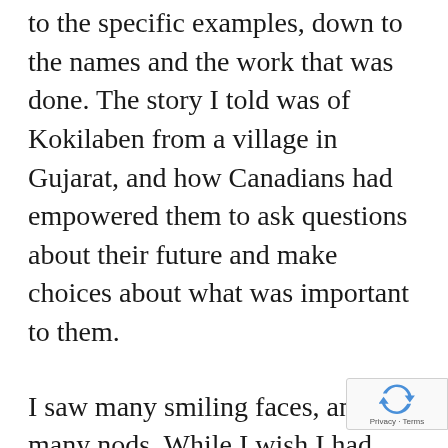to the specific examples, down to the names and the work that was done. The story I told was of Kokilaben from a village in Gujarat, and how Canadians had empowered them to ask questions about their future and make choices about what was important to them.
I saw many smiling faces, and many nods. While I wish I had water before stepping up, I didn't get a chance. I'm never one to be frightened by large audiences and I remember being c...